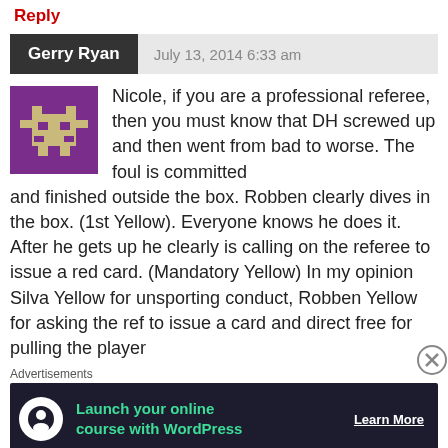Reply
Gerry Ryan   July 13, 2014 6:33 am
[Figure (illustration): Pixel art avatar: tan/beige Space Invaders style robot character on purple background]
Nicole, if you are a professional referee, then you must know that DH screwed up and then went from bad to worse. The foul is committed and finished outside the box. Robben clearly dives in the box. (1st Yellow). Everyone knows he does it. After he gets up he clearly is calling on the referee to issue a red card. (Mandatory Yellow) In my opinion Silva Yellow for unsporting conduct, Robben Yellow for asking the ref to issue a card and direct free for pulling the player
Advertisements
[Figure (infographic): Dark advertisement banner: Launch your online course with WordPress - Learn More]